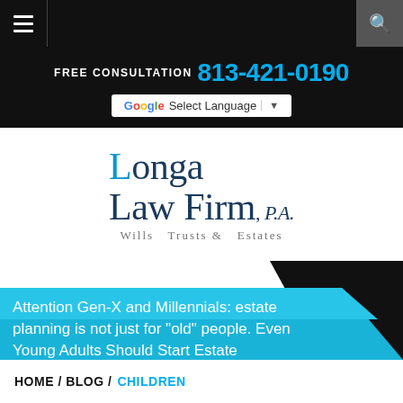Navigation bar with hamburger menu and search icon
FREE CONSULTATION 813-421-0190
Select Language
[Figure (logo): Longa Law Firm, P.A. — Wills Trusts & Estates logo]
Attention Gen-X and Millennials: estate planning is not just for “old” people. Even Young Adults Should Start Estate
HOME / BLOG / CHILDREN